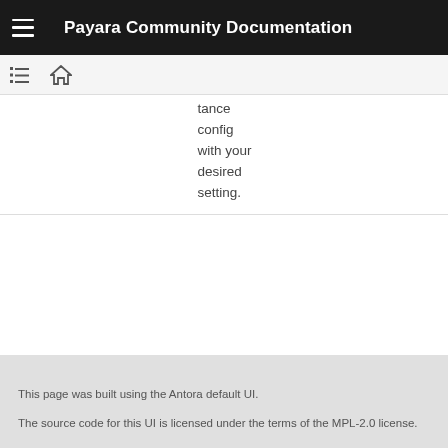Payara Community Documentation
tance config with your desired setting.
This page was built using the Antora default UI.
The source code for this UI is licensed under the terms of the MPL-2.0 license.